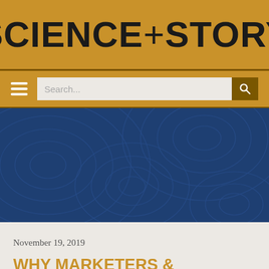SCIENCE+STORY
[Figure (screenshot): Website header with navigation bar containing hamburger menu and search box]
[Figure (illustration): Hero image with dark blue background and topographic line pattern]
November 19, 2019
WHY MARKETERS & SCIENTISTS HATE